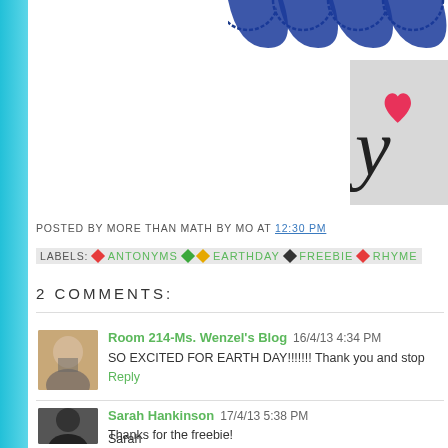[Figure (illustration): Decorative banner/bunting at top right corner with blue scallop shapes]
[Figure (logo): Blog logo with pink heart and script letter in gray box at top right]
POSTED BY MORE THAN MATH BY MO AT 12:30 PM
LABELS: ANTONYMS, EARTHDAY, FREEBIE, RHYME
2 COMMENTS:
Room 214-Ms. Wenzel's Blog  16/4/13 4:34 PM
SO EXCITED FOR EARTH DAY!!!!!!! Thank you and stop...
Reply
Sarah Hankinson  17/4/13 5:38 PM
Thanks for the freebie!

Sarah
Learning is for Superstars
Learning is for Superstars is on Facebook!